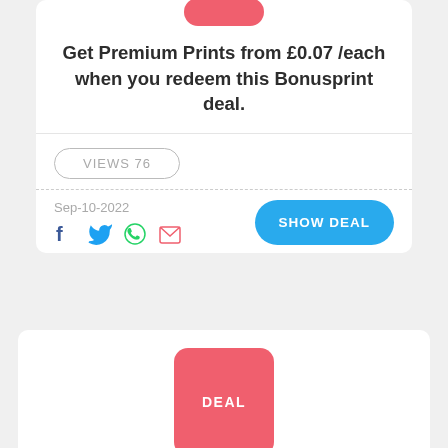[Figure (other): Red/pink rounded rectangle badge (partial, top cut off) — deal badge for first card]
Get Premium Prints from £0.07 /each when you redeem this Bonusprint deal.
VIEWS 76
Sep-10-2022
[Figure (other): Social share icons: Facebook, Twitter, WhatsApp, Email]
SHOW DEAL
[Figure (other): Red/pink rounded rectangle badge with text DEAL — second card]
Get Wall Art from £12.50 when you use this deal at Bonusprint